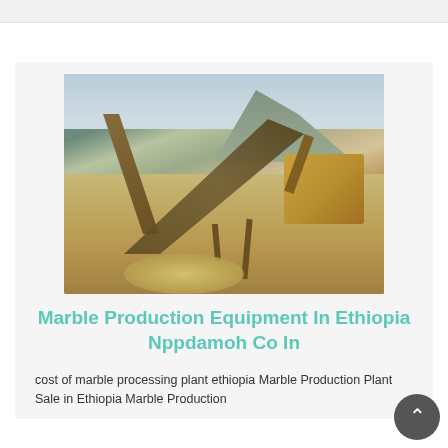[Figure (photo): Aerial view of a marble/stone crushing and processing plant with conveyor belts, heavy machinery, and stockpiles of crushed material. Mountains visible in the background.]
Marble Production Equipment In Ethiopia Nppdamoh Co In
cost of marble processing plant ethiopia Marble Production Plant Sale in Ethiopia Marble Production